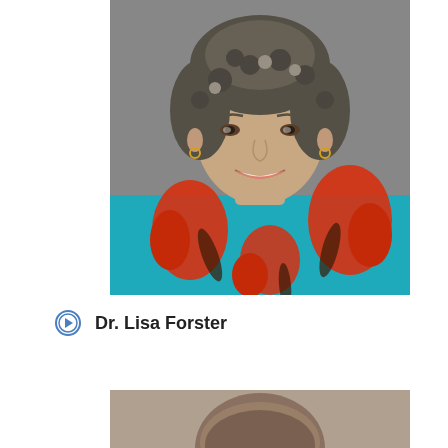[Figure (photo): Professional headshot of Dr. Lisa Forster, a woman with short curly grey-brown hair, smiling, wearing a teal/turquoise blouse with large red floral print, against a grey background]
Dr. Lisa Forster
[Figure (photo): Partial headshot of another person, only top of head visible, with brown hair, against a beige/tan background]